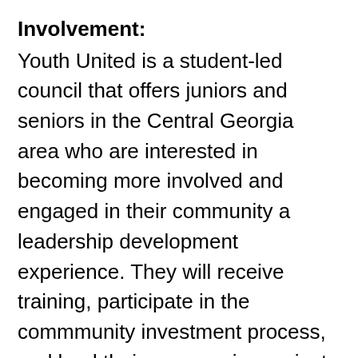Involvement:
Youth United is a student-led council that offers juniors and seniors in the Central Georgia area who are interested in becoming more involved and engaged in their community a leadership development experience. They will receive training, participate in the commmunity investment process, and lead their own service projects to connect students to volunteerism. Youth Council members attend monthly meetings and participate in and plan volunteer projects and events.
To find out more about Youth United or to learn how you (or your child) can get involved with a Youth United volunteer project, contact Brandi